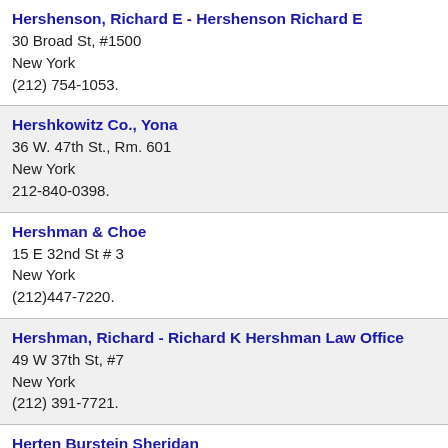Hershenson, Richard E - Hershenson Richard E
30 Broad St, #1500
New York
(212) 754-1053.
Hershkowitz Co., Yona
36 W. 47th St., Rm. 601
New York
212-840-0398.
Hershman & Choe
15 E 32nd St # 3
New York
(212)447-7220.
Hershman, Richard - Richard K Hershman Law Office
49 W 37th St, #7
New York
(212) 391-7721.
Herten Burstein Sheridan
747 3rd Ave # 37
New York
(212)363-1380.